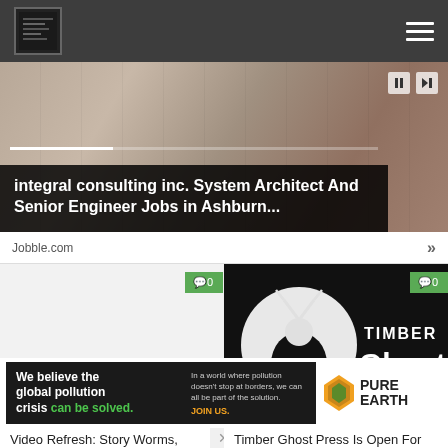[Figure (screenshot): Website page header with dark grey background, small logo on left, hamburger menu icon on right]
[Figure (photo): Hero image of desk with laptop and cables, showing video player controls. Overlay text: 'integral consulting inc. System Architect And Senior Engineer Jobs in Ashburn...']
Jobble.com
[Figure (screenshot): Left card thumbnail: chess piece and 'Story' text on light background, with green comment badge showing Q0]
[Figure (logo): Right card: Timber Ghost Press logo on black background - white deer silhouette in circle, text 'TIMBER Ghost PRESS', green comment badge showing Q0]
Video Refresh: Story Worms, Starting Over
Timber Ghost Press Is Open For Novella And Novel Submissions
[Figure (screenshot): Advertisement banner: Pure Earth ad - 'We believe the global pollution crisis can be solved.' with JOIN US call to action and Pure Earth logo]